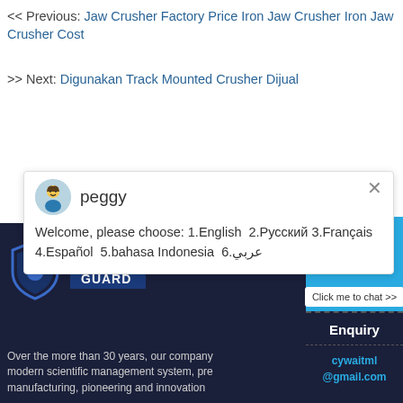<< Previous: Jaw Crusher Factory Price Iron Jaw Crusher Iron Jaw Crusher Cost
>> Next: Digunakan Track Mounted Crusher Dijual
[Figure (screenshot): Chat popup with avatar of 'peggy' and multilingual welcome message: Welcome, please choose: 1.English 2.Русский 3.Français 4.Español 5.bahasa Indonesia 6.عربي]
[Figure (screenshot): Right side chat widget with smiley face in headphones on blue background, badge showing '1', and 'Click me to chat >>' button]
[Figure (logo): Security Guard logo: shield icon with person figure, text 'SECURITY GUARD' in dark blue box]
Over the more than 30 years, our company modern scientific management system, pre manufacturing, pioneering and innovation
Enquiry
cywaitml @gmail.com